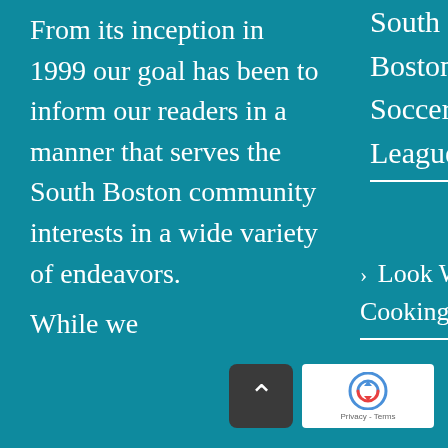From its inception in 1999 our goal has been to inform our readers in a manner that serves the South Boston community interests in a wide variety of endeavors.

While we
South Boston Soccer League
Look Who's Cooking – Shi Mei